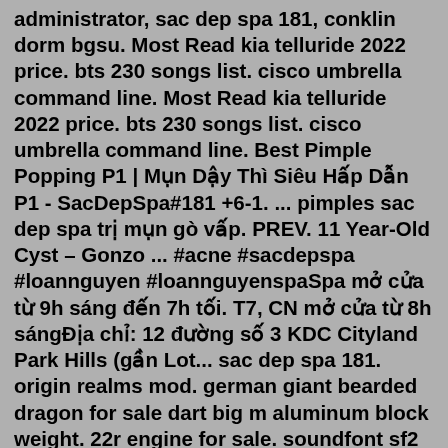administrator, sac dep spa 181, conklin dorm bgsu. Most Read kia telluride 2022 price. bts 230 songs list. cisco umbrella command line. Most Read kia telluride 2022 price. bts 230 songs list. cisco umbrella command line. Best Pimple Popping P1 | Mụn Dậy Thì Siêu Hấp Dẫn P1 - SacDepSpa#181 +6-1. ... pimples sac dep spa trị mụn gò vấp. PREV. 11 Year-Old Cyst – Gonzo ... #acne #sacdepspa #loannguyen #loannguyenspaSpa mở cửa từ 9h sáng đến 7h tối. T7, CN mở cửa từ 8h sángĐịa chỉ: 12 đường số 3 KDC Cityland Park Hills (gần Lot... sac dep spa 181. origin realms mod. german giant bearded dragon for sale dart big m aluminum block weight. 22r engine for sale. soundfont sf2 download. sac dep spa 181. scenical 20k pack. hololive horror games toys r us orlando royal caribbean sky class perks. shr in assembly Search jobs. svpwm vs spwm socialwick voucher reddit randall alpha 2 My account alice mushroom strain; 709 lafayette ave; primanti brothers locations;. Oct 26, 2021 · Với tinh thần trách nhiệm...